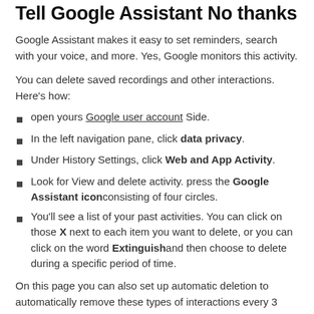Tell Google Assistant No thanks
Google Assistant makes it easy to set reminders, search with your voice, and more. Yes, Google monitors this activity.
You can delete saved recordings and other interactions. Here's how:
open yours Google user account Side.
In the left navigation pane, click data privacy.
Under History Settings, click Web and App Activity.
Look for View and delete activity. press the Google Assistant icon consisting of four circles.
You'll see a list of your past activities. You can click on those X next to each item you want to delete, or you can click on the word Extinguish and then choose to delete during a specific period of time.
On this page you can also set up automatic deletion to automatically remove these types of interactions every 3 months, 18 months or 36 months.